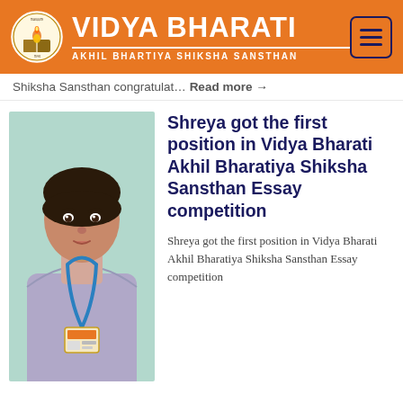VIDYA BHARATI — AKHIL BHARTIYA SHIKSHA SANSTHAN
Shiksha Sansthan congratulat… Read more →
[Figure (photo): Portrait photo of a young girl student in school uniform with a blue lanyard and ID card, standing against a light blue-green wall.]
Shreya got the first position in Vidya Bharati Akhil Bharatiya Shiksha Sansthan Essay competition
Shreya got the first position in Vidya Bharati Akhil Bharatiya Shiksha Sansthan Essay competition